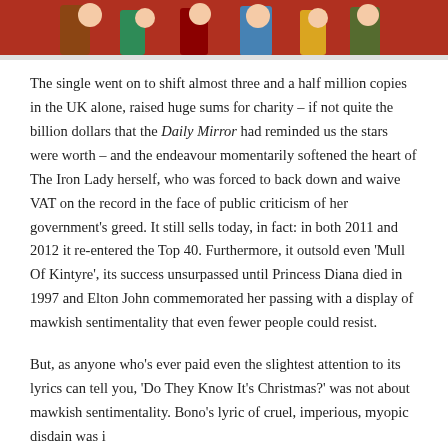[Figure (photo): Partial view of a colorful illustrated or photographic image at the top of the page, showing figures against a red background.]
The single went on to shift almost three and a half million copies in the UK alone, raised huge sums for charity – if not quite the billion dollars that the Daily Mirror had reminded us the stars were worth – and the endeavour momentarily softened the heart of The Iron Lady herself, who was forced to back down and waive VAT on the record in the face of public criticism of her government's greed. It still sells today, in fact: in both 2011 and 2012 it re-entered the Top 40. Furthermore, it outsold even 'Mull Of Kintyre', its success unsurpassed until Princess Diana died in 1997 and Elton John commemorated her passing with a display of mawkish sentimentality that even fewer people could resist.
But, as anyone who's ever paid even the slightest attention to its lyrics can tell you, 'Do They Know It's Christmas?' was not about mawkish sentimentality. Bono's lyric of cruel, imperious, myopic disdain was i…